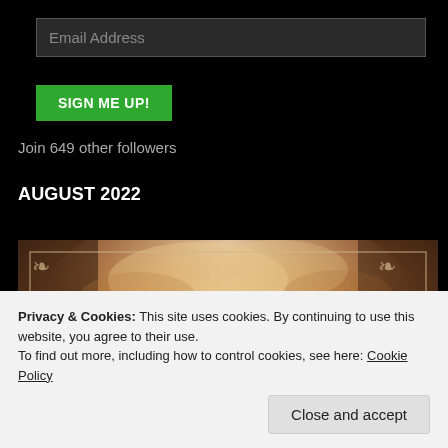Email Address
SIGN ME UP!
Join 649 other followers
AUGUST 2022
[Figure (illustration): Book cover for Morgan L. Busse featuring an ornate border on a dramatic cloudy sky background with warm brown and golden tones, author name 'MORGAN L. BUSSE' displayed prominently in large serif letters]
Privacy & Cookies: This site uses cookies. By continuing to use this website, you agree to their use.
To find out more, including how to control cookies, see here: Cookie Policy
Close and accept